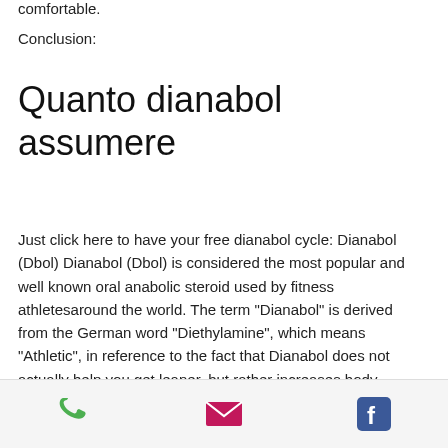comfortable.
Conclusion:
Quanto dianabol assumere
Just click here to have your free dianabol cycle: Dianabol (Dbol) Dianabol (Dbol) is considered the most popular and well known oral anabolic steroid used by fitness athletesaround the world. The term "Dianabol" is derived from the German word "Diethylamine", which means "Athletic", in reference to the fact that Dianabol does not actually help you get leaner, but rather increases body mass.
[Figure (infographic): Footer bar with phone icon (green), email envelope icon (pink/magenta), and Facebook icon (blue)]